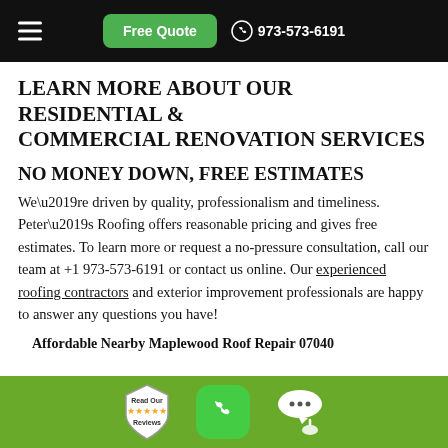Free Quote  973-573-6191
LEARN MORE ABOUT OUR RESIDENTIAL & COMMERCIAL RENOVATION SERVICES
NO MONEY DOWN, FREE ESTIMATES
We’re driven by quality, professionalism and timeliness. Peter’s Roofing offers reasonable pricing and gives free estimates. To learn more or request a no-pressure consultation, call our team at +1 973-573-6191 or contact us online. Our experienced roofing contractors and exterior improvement professionals are happy to answer any questions you have!
Affordable Nearby Maplewood Roof Repair 07040